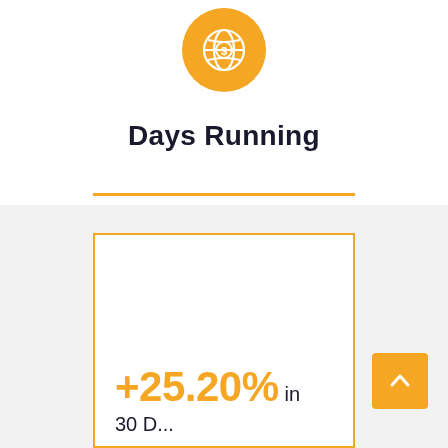[Figure (illustration): Orange circle with a globe/dollar sign icon]
Days Running
+25.20% in
30 D...